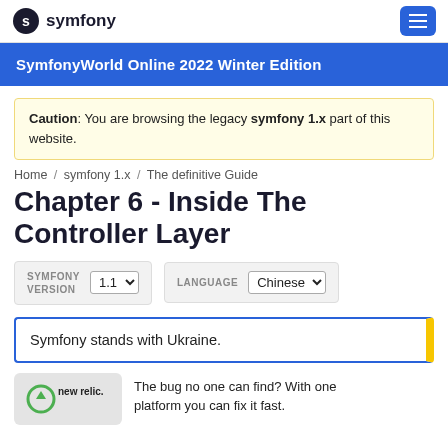symfony
SymfonyWorld Online 2022 Winter Edition
Caution: You are browsing the legacy symfony 1.x part of this website.
Home / symfony 1.x / The definitive Guide
Chapter 6 - Inside The Controller Layer
SYMFONY VERSION 1.1 LANGUAGE Chinese
Symfony stands with Ukraine.
The bug no one can find? With one platform you can fix it fast.